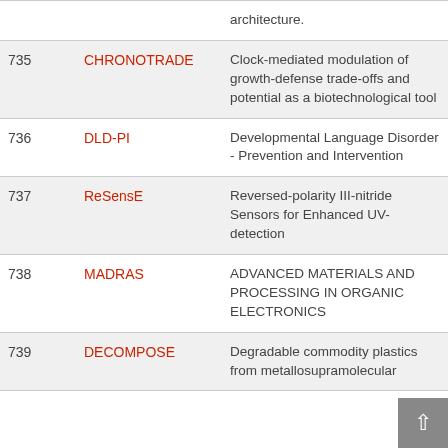| # | Acronym | Description |
| --- | --- | --- |
|  |  | architecture. |
| 735 | CHRONOTRADE | Clock-mediated modulation of growth-defense trade-offs and potential as a biotechnological tool |
| 736 | DLD-PI | Developmental Language Disorder - Prevention and Intervention |
| 737 | ReSensE | Reversed-polarity III-nitride Sensors for Enhanced UV-detection |
| 738 | MADRAS | ADVANCED MATERIALS AND PROCESSING IN ORGANIC ELECTRONICS |
| 739 | DECOMPOSE | Degradable commodity plastics from metallosupramolecular |